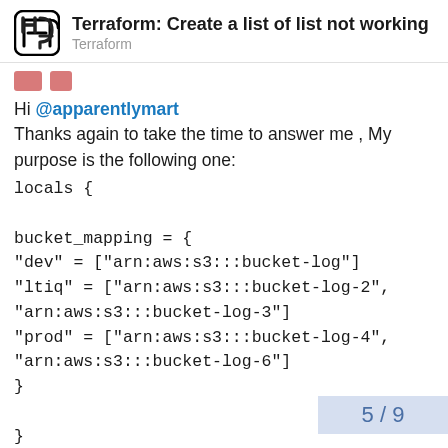Terraform: Create a list of list not working
Terraform
Hi @apparentlymart
Thanks again to take the time to answer me , My purpose is the following one:
locals {

bucket_mapping = {
"dev" = ["arn:aws:s3:::bucket-log"]
"ltiq" = ["arn:aws:s3:::bucket-log-2", "arn:aws:s3:::bucket-log-3"]
"prod" = ["arn:aws:s3:::bucket-log-4", "arn:aws:s3:::bucket-log-6"]
}

}
In this example , I put the arn of the b
5 / 9